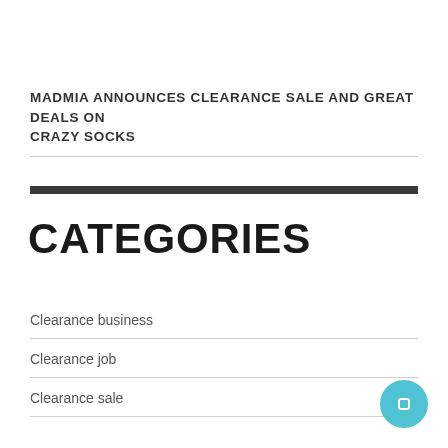MADMIA ANNOUNCES CLEARANCE SALE AND GREAT DEALS ON CRAZY SOCKS
CATEGORIES
Clearance business
Clearance job
Clearance sale